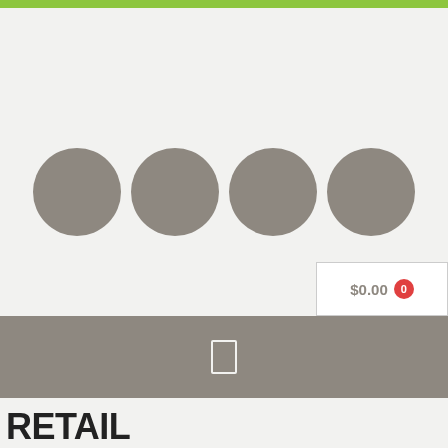[Figure (screenshot): Website header with green top bar, four gray placeholder circles for logos/images, a shopping cart button showing $0.00 with a red badge showing 0, a gray navigation bar with a menu icon, and a large bold title at the bottom reading RETAIL MERCHANDISING, DISPLAY AND RETAIL]
RETAIL MERCHANDISING, DISPLAY AND RETAIL